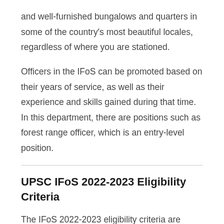and well-furnished bungalows and quarters in some of the country's most beautiful locales, regardless of where you are stationed.
Officers in the IFoS can be promoted based on their years of service, as well as their experience and skills gained during that time. In this department, there are positions such as forest range officer, which is an entry-level position.
UPSC IFoS 2022-2023 Eligibility Criteria
The IFoS 2022-2023 eligibility criteria are defined